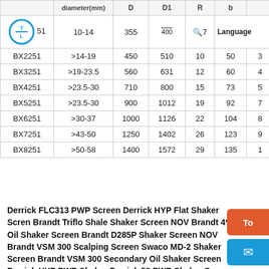|  | diameter(mm) | D | D1 | R | b |  |
| --- | --- | --- | --- | --- | --- | --- |
| BX1251 | 10-14 | 355 | 400 | 7 |  |  |
| BX2251 | >14-19 | 450 | 510 | 10 | 50 | 3 |
| BX3251 | >19-23.5 | 560 | 631 | 12 | 60 | 4 |
| BX4251 | >23.5-30 | 710 | 800 | 15 | 73 | 5 |
| BX5251 | >23.5-30 | 900 | 1012 | 19 | 92 | 7 |
| BX6251 | >30-37 | 1000 | 1126 | 22 | 104 | 8 |
| BX7251 | >43-50 | 1250 | 1402 | 26 | 123 | 9 |
| BX8251 | >50-58 | 1400 | 1572 | 29 | 135 | 1 |
Derrick FLC313 PWP Screen Derrick HYP Flat Shaker Scren Brandt Triflo Shale Shaker Screen NOV Brandt 4*5 Oil Shaker Screen Brandt D285P Shaker Screen NOV Brandt VSM 300 Scalping Screen Swaco MD-2 Shaker Screen Brandt VSM 300 Secondary Oil Shaker Screen Derrick HYP PWP Shaker Derrick 58 PWP Shaker Screen NOV Brandt VSM 300 Scalping Shaker Screen